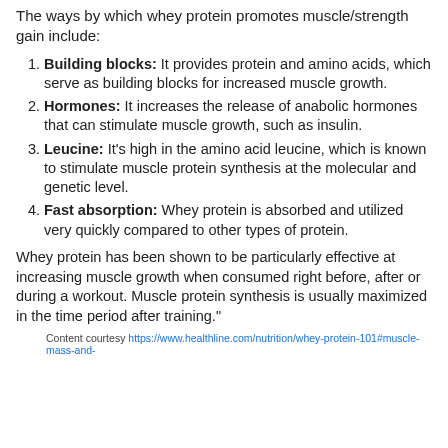The ways by which whey protein promotes muscle/strength gain include:
Building blocks: It provides protein and amino acids, which serve as building blocks for increased muscle growth.
Hormones: It increases the release of anabolic hormones that can stimulate muscle growth, such as insulin.
Leucine: It's high in the amino acid leucine, which is known to stimulate muscle protein synthesis at the molecular and genetic level.
Fast absorption: Whey protein is absorbed and utilized very quickly compared to other types of protein.
Whey protein has been shown to be particularly effective at increasing muscle growth when consumed right before, after or during a workout. Muscle protein synthesis is usually maximized in the time period after training."
Content courtesy https://www.healthline.com/nutrition/whey-protein-101#muscle-mass-and-